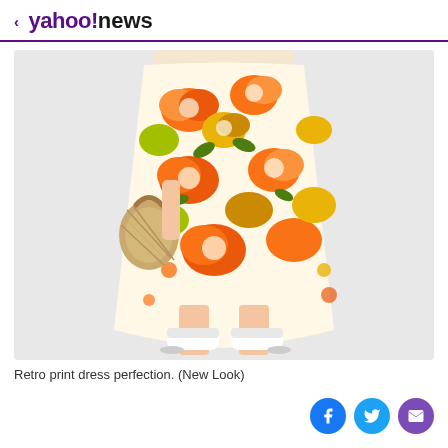< yahoo!news
[Figure (photo): Woman wearing a retro orange and yellow floral print midi dress with white sneakers, holding a woven straw bag, photographed against a light grey background. Only the torso and lower body are visible.]
Retro print dress perfection. (New Look)